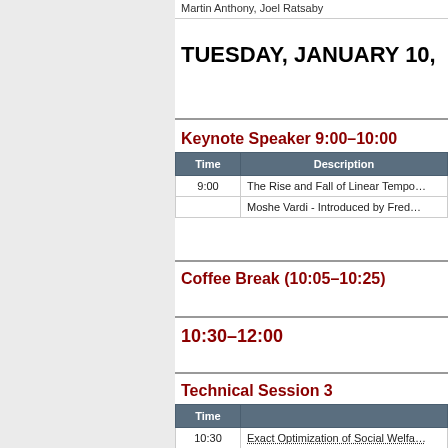Martin Anthony, Joel Ratsaby
TUESDAY, JANUARY 10,
Keynote Speaker 9:00–10:00
| Time | Description |
| --- | --- |
| 9:00 | The Rise and Fall of Linear Tempo… |
|  | Moshe Vardi - Introduced by Fred… |
Coffee Break (10:05–10:25)
10:30–12:00
Technical Session 3
| Time |  |
| --- | --- |
| 10:30 | Exact Optimization of Social Welfa… |
| 11:30 | Joerg Rothe, Lena Schend |
| 11:00 | Modeling Deep Strategic Reasoni… |